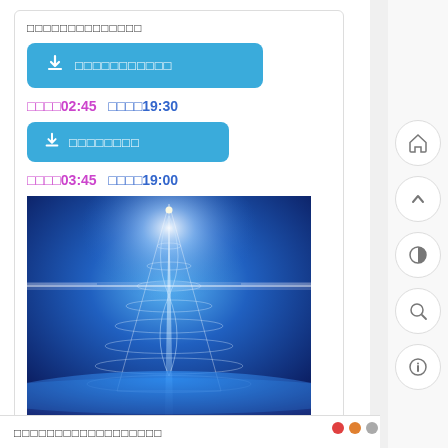□□□□□□□□□□□□□□
↓ □□□□□□□□□□□
□□□□02:45  □□□□19:30
↓ □□□□□□□□
□□□□03:45  □□□□19:00
[Figure (photo): Blue space background with a glowing white light beam and cone shape rising from Earth's horizon, with a star at the top and horizontal light bands crossing]
□□□□□□□□□□□□□□□□□□